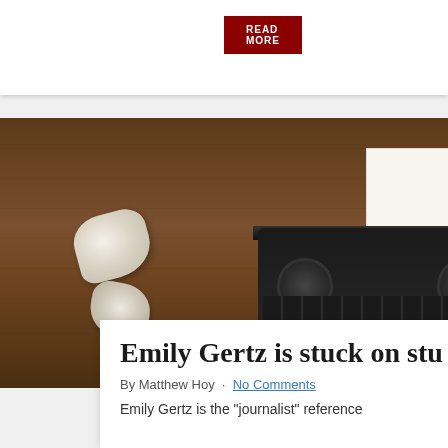[Figure (screenshot): Red subscribe/read more button on white background, partially visible at top of page]
[Figure (photo): Overhead photo of a vintage typewriter on a wooden table with crumpled pieces of paper scattered around it]
Emily Gertz is stuck on stu...
By Matthew Hoy · No Comments
Emily Gertz is the "journalist" reference...